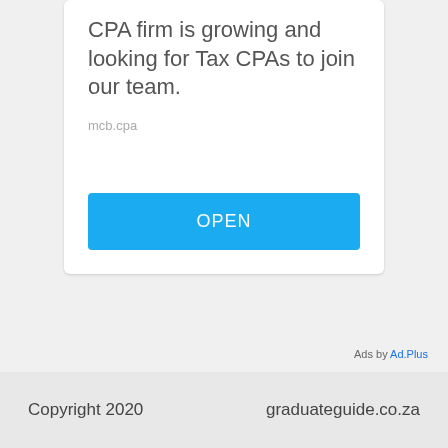CPA firm is growing and looking for Tax CPAs to join our team.
mcb.cpa
[Figure (other): Blue OPEN button for ad call-to-action]
Ads by Ad.Plus
Copyright 2020    graduateguide.co.za